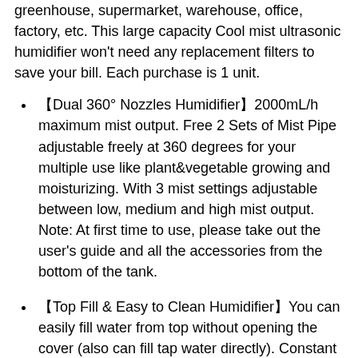greenhouse, supermarket, warehouse, office, factory, etc. This large capacity Cool mist ultrasonic humidifier won't need any replacement filters to save your bill. Each purchase is 1 unit.
【Dual 360° Nozzles Humidifier】2000mL/h maximum mist output. Free 2 Sets of Mist Pipe adjustable freely at 360 degrees for your multiple use like plant&vegetable growing and moisturizing. With 3 mist settings adjustable between low, medium and high mist output. Note: At first time to use, please take out the user’s guide and all the accessories from the bottom of the tank.
【Top Fill & Easy to Clean Humidifier】You can easily fill water from top without opening the cover (also can fill tap water directly). Constant moisture for more than 48 hours.Give you warn first and then auto shut off when out of water. With wide opening water tank for effortless refilling without any spillage, and provides easy access to